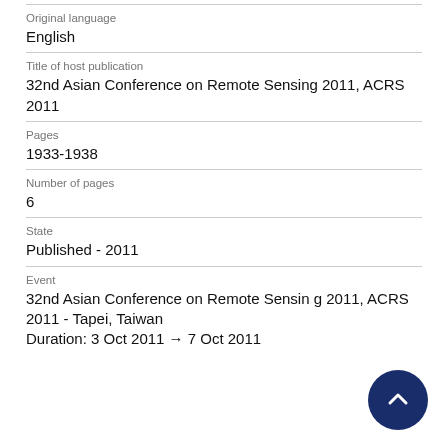| Field | Value |
| --- | --- |
| Original language | English |
| Title of host publication | 32nd Asian Conference on Remote Sensing 2011, ACRS 2011 |
| Pages | 1933-1938 |
| Number of pages | 6 |
| State | Published - 2011 |
| Event | 32nd Asian Conference on Remote Sensing 2011, ACRS 2011 - Tapei, Taiwan
Duration: 3 Oct 2011 → 7 Oct 2011 |